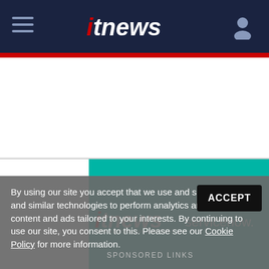[Figure (logo): ITnews navigation bar with hamburger menu on left, ITnews logo in center, user icon on right, on dark navy background with red bar underneath]
[Figure (logo): Teal banner showing ITnews for Australian Business logo and ServiceNow logo side by side]
By using our site you accept that we use and share cookies and similar technologies to perform analytics and provide content and ads tailored to your interests. By continuing to use our site, you consent to this. Please see our Cookie Policy for more information.
ACCEPT
SPONSORED LINKS